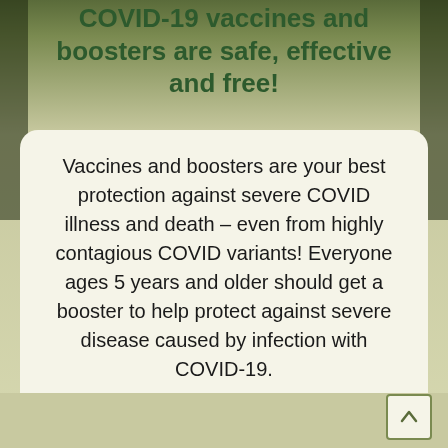COVID-19 vaccines and boosters are safe, effective and free!
Vaccines and boosters are your best protection against severe COVID illness and death – even from highly contagious COVID variants! Everyone ages 5 years and older should get a booster to help protect against severe disease caused by infection with COVID-19.